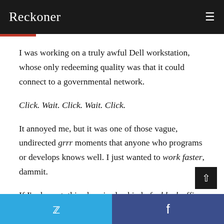Reckoner
I was working on a truly awful Dell workstation, whose only redeeming quality was that it could connect to a governmental network.
Click. Wait. Click. Wait. Click.
It annoyed me, but it was one of those vague, undirected grrr moments that anyone who programs or develops knows well. I just wanted to work faster, dammit.
If I'm honest, this place is also kind of a bleak office, bedecked in governmental blandness. I wanted to put something cool on the wall that looked nice.
Twitter | Facebook